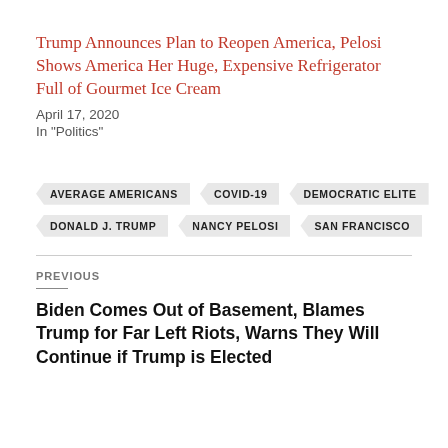Trump Announces Plan to Reopen America, Pelosi Shows America Her Huge, Expensive Refrigerator Full of Gourmet Ice Cream
April 17, 2020
In "Politics"
AVERAGE AMERICANS
COVID-19
DEMOCRATIC ELITE
DONALD J. TRUMP
NANCY PELOSI
SAN FRANCISCO
PREVIOUS
Biden Comes Out of Basement, Blames Trump for Far Left Riots, Warns They Will Continue if Trump is Elected